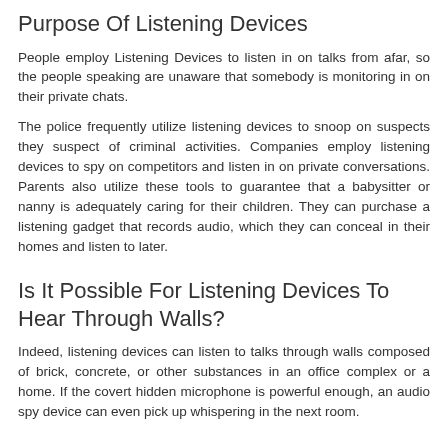Purpose Of Listening Devices
People employ Listening Devices to listen in on talks from afar, so the people speaking are unaware that somebody is monitoring in on their private chats.
The police frequently utilize listening devices to snoop on suspects they suspect of criminal activities. Companies employ listening devices to spy on competitors and listen in on private conversations. Parents also utilize these tools to guarantee that a babysitter or nanny is adequately caring for their children. They can purchase a listening gadget that records audio, which they can conceal in their homes and listen to later.
Is It Possible For Listening Devices To Hear Through Walls?
Indeed, listening devices can listen to talks through walls composed of brick, concrete, or other substances in an office complex or a home. If the covert hidden microphone is powerful enough, an audio spy device can even pick up whispering in the next room.